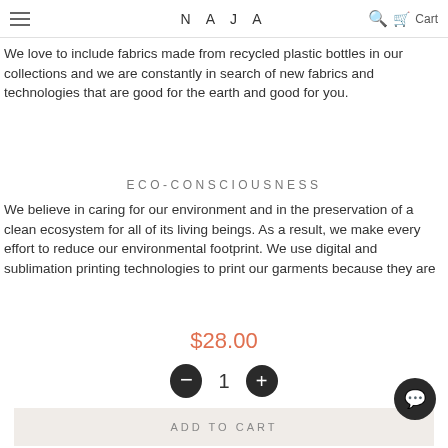NAJA — Cart
We love to include fabrics made from recycled plastic bottles in our collections and we are constantly in search of new fabrics and technologies that are good for the earth and good for you.
ECO-CONSCIOUSNESS
We believe in caring for our environment and in the preservation of a clean ecosystem for all of its living beings. As a result, we make every effort to reduce our environmental footprint. We use digital and sublimation printing technologies to print our garments because they are
$28.00
1
ADD TO CART